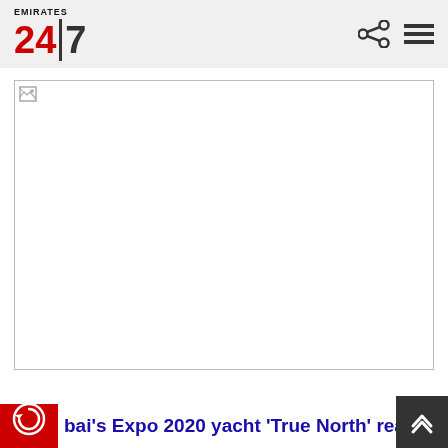Emirates 24|7
[Figure (photo): Broken/missing image placeholder — a large white rectangle with a small broken image icon in the top-left corner and a thin grey border]
bai's Expo 2020 yacht 'True North' reaches Cuba